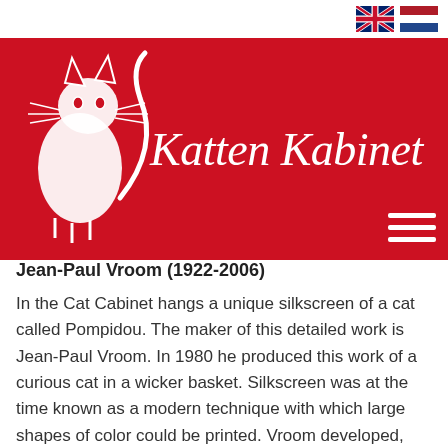[Figure (logo): Two country flag icons: UK flag (Union Jack) and Netherlands flag (red/white/blue horizontal stripes)]
[Figure (logo): Katten Kabinet website header banner — red background with white cat illustration on the left and white italic text 'Katten Kabinet' on the right, plus a hamburger menu icon]
Jean-Paul Vroom (1922-2006)
In the Cat Cabinet hangs a unique silkscreen of a cat called Pompidou. The maker of this detailed work is Jean-Paul Vroom. In 1980 he produced this work of a curious cat in a wicker basket. Silkscreen was at the time known as a modern technique with which large shapes of color could be printed. Vroom developed, together with Hans Jansen, a silkscreen with features resembling those of engraving, which enabled many details and layers to be